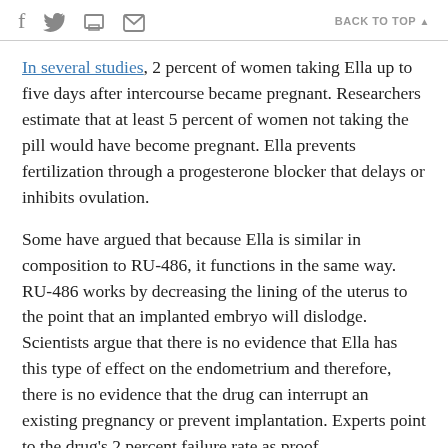f  [twitter]  [print]  [mail]   BACK TO TOP ▲
In several studies, 2 percent of women taking Ella up to five days after intercourse became pregnant. Researchers estimate that at least 5 percent of women not taking the pill would have become pregnant. Ella prevents fertilization through a progesterone blocker that delays or inhibits ovulation.
Some have argued that because Ella is similar in composition to RU-486, it functions in the same way. RU-486 works by decreasing the lining of the uterus to the point that an implanted embryo will dislodge. Scientists argue that there is no evidence that Ella has this type of effect on the endometrium and therefore, there is no evidence that the drug can interrupt an existing pregnancy or prevent implantation. Experts point to the drug's 2 percent failure rate as proof.
According to a report published in The Lancet,